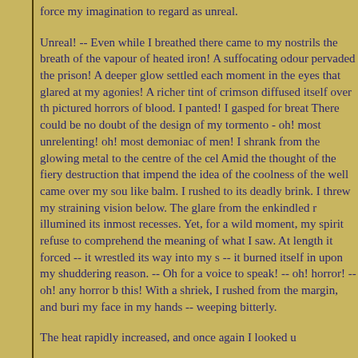force my imagination to regard as unreal.

Unreal! -- Even while I breathed there came to my nostrils the breath of the vapour of heated iron! A suffocating odour pervaded the prison! A deeper glow settled each moment in the eyes that glared at my agonies! A richer tint of crimson diffused itself over the pictured horrors of blood. I panted! I gasped for breath! There could be no doubt of the design of my tormentors - oh! most unrelenting! oh! most demoniac of men! I shrank from the glowing metal to the centre of the cell. Amid the thought of the fiery destruction that impended, the idea of the coolness of the well came over my soul like balm. I rushed to its deadly brink. I threw my straining vision below. The glare from the enkindled roof illumined its inmost recesses. Yet, for a wild moment, did my spirit refuse to comprehend the meaning of what I saw. At length it forced -- it wrestled its way into my soul -- it burned itself in upon my shuddering reason. -- Oh! for a voice to speak! -- oh! horror! -- oh! any horror but this! With a shriek, I rushed from the margin, and buried my face in my hands -- weeping bitterly.

The heat rapidly increased, and once again I looked up.